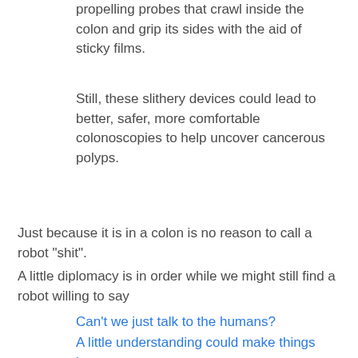propelling probes that crawl inside the colon and grip its sides with the aid of sticky films.
Still, these slithery devices could lead to better, safer, more comfortable colonoscopies to help uncover cancerous polyps.
Just because it is in a colon is no reason to call a robot "shit".
A little diplomacy is in order while we might still find a robot willing to say
Can't we just talk to the humans?
A little understanding could make things better.
Can't we talk to the humans and work together now?